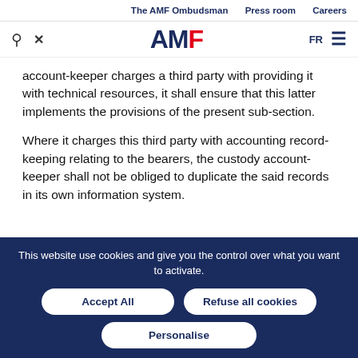The AMF Ombudsman   Press room   Careers
[Figure (logo): AMF logo with search and tool icons, FR language toggle and hamburger menu]
account-keeper charges a third party with providing it with technical resources, it shall ensure that this latter implements the provisions of the present sub-section.
Where it charges this third party with accounting record-keeping relating to the bearers, the custody account-keeper shall not be obliged to duplicate the said records in its own information system.
This website use cookies and give you the control over what you want to activate.
Accept All   Refuse all cookies   Personalise